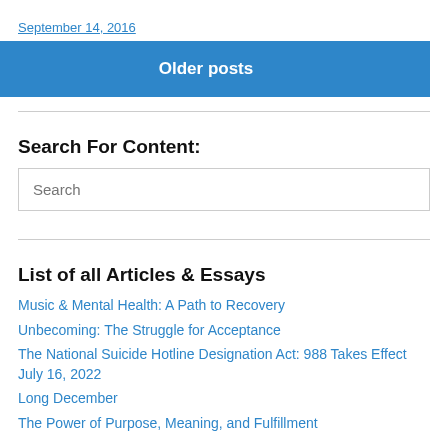September 14, 2016
Older posts
Search For Content:
Search
List of all Articles & Essays
Music & Mental Health: A Path to Recovery
Unbecoming: The Struggle for Acceptance
The National Suicide Hotline Designation Act: 988 Takes Effect July 16, 2022
Long December
The Power of Purpose, Meaning, and Fulfillment